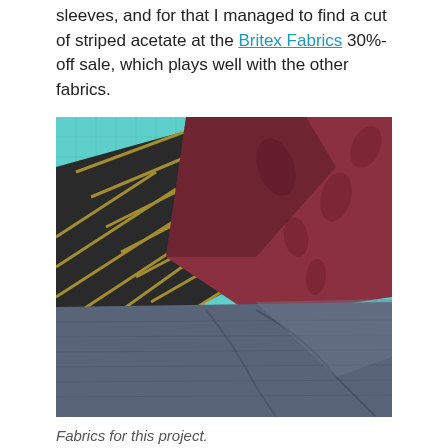sleeves, and for that I managed to find a cut of striped acetate at the Britex Fabrics 30%-off sale, which plays well with the other fabrics.
[Figure (photo): Three pieces of fabric laid on a teal cutting mat: a dark striped acetate fabric on the left, a dark red/burgundy paisley fabric in the center, and a dark blue-grey fabric at the bottom right.]
Fabrics for this project.
The...